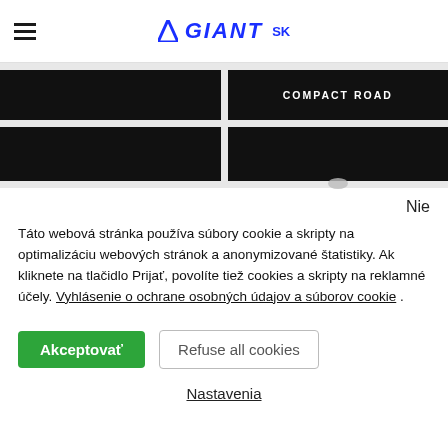≡  GIANT SK
[Figure (screenshot): Two-column image grid with black image blocks. Top right block shows text 'COMPACT ROAD'. Bottom row has two black image blocks with a scroll indicator dot on the right block.]
Nie
Táto webová stránka používa súbory cookie a skripty na optimalizáciu webových stránok a anonymizované štatistiky. Ak kliknete na tlačidlo Prijať, povolíte tiež cookies a skripty na reklamné účely. Vyhlásenie o ochrane osobných údajov a súborov cookie .
Akceptovať
Refuse all cookies
Nastavenia